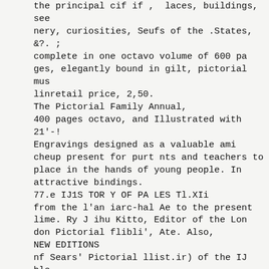the principal cif if , laces, buildings, see nery, curiosities, Seufs of the .States, &?. ; complete in one octavo volume of 600 pa ges, elegantly bound in gilt, pictorial mus linretail price, 2,50.
The Pictorial Family Annual,
400 pages octavo, and Illustrated with 21'-! Engravings designed as a valuable ami cheup present for purt nts and teachers to place in the hands of young people. In attractive bindings.
77.e IJ1S TOR Y OF PA LES Tl.XIi from the l'an iarc-hal Ae to the present lime. Ry J ihu Kitto, Editor of the Lon don Pictorial flibli', Ate. Also,
NEW EDITIONS
nf Sears' Pictorial llist.ir) of the IJ ble Pictorial Sunday IJook Description oi (Jrent iiiiiiin and lr land Hililf l:nra phv Scenes mid Skei hs in Cuutitii'til.il Europe Inf.iriiiHiitni for the I'topV Pic loriwl Fnu'y Library I'n-toiial llitcr of the A'liericxn KhvoIuIhui an n.iiieh new volume on the Wonders ol the Woiln and